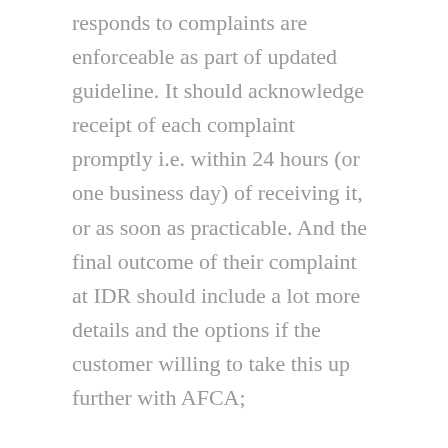responds to complaints are enforceable as part of updated guideline. It should acknowledge receipt of each complaint promptly i.e. within 24 hours (or one business day) of receiving it, or as soon as practicable. And the final outcome of their complaint at IDR should include a lot more details and the options if the customer willing to take this up further with AFCA;
The maximum timeframe to respond to standard complaints will be no later than 30 calendar days after receiving the complaint (a reduction from the existing 45 days). These changes are designed to